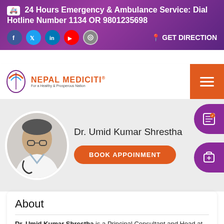🚑 24 Hours Emergency & Ambulance Service: Dial Hotline Number 1134 OR 9801235698
[Figure (screenshot): Nepal Mediciti hospital website header with social media icons (Facebook, Twitter, LinkedIn, YouTube, Instagram) and GET DIRECTION link on purple gradient banner, followed by Nepal Mediciti logo and orange hamburger menu button]
Dr. Umid Kumar Shrestha
BOOK APPOINMENT
About
Dr. Umid Kumar Shrestha is a Principal Consultant and Head at Department of Gastroenterology, Hepatology, and Endoscopy at Nepal Mediciti. He did his MBBS from Rajshahi University, MD in Internal medicine...